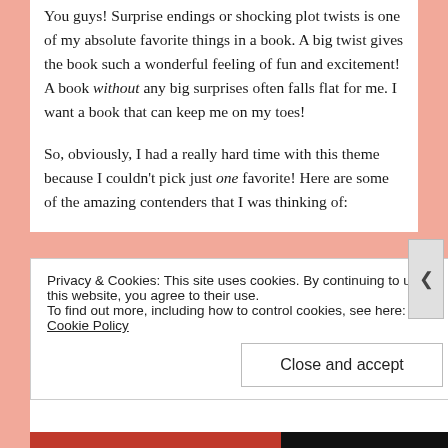You guys! Surprise endings or shocking plot twists is one of my absolute favorite things in a book. A big twist gives the book such a wonderful feeling of fun and excitement! A book without any big surprises often falls flat for me. I want a book that can keep me on my toes!

So, obviously, I had a really hard time with this theme because I couldn't pick just one favorite! Here are some of the amazing contenders that I was thinking of:
Privacy & Cookies: This site uses cookies. By continuing to use this website, you agree to their use.
To find out more, including how to control cookies, see here: Cookie Policy
Close and accept